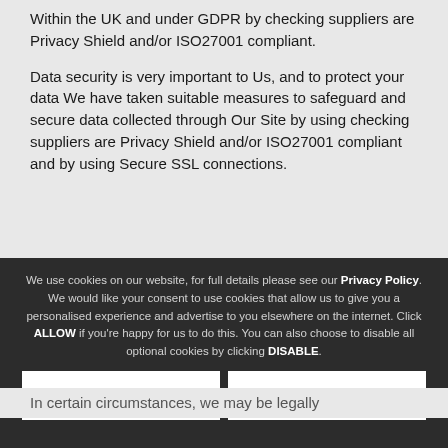Within the UK and under GDPR by checking suppliers are Privacy Shield and/or ISO27001 compliant.
Data security is very important to Us, and to protect your data We have taken suitable measures to safeguard and secure data collected through Our Site by using checking suppliers are Privacy Shield and/or ISO27001 compliant and by using Secure SSL connections.
We use cookies on our website, for full details please see our Privacy Policy. We would like your consent to use cookies that allow us to give you a personalised experience and advertise to you elsewhere on the internet. Click ALLOW if you're happy for us to do this. You can also choose to disable all optional cookies by clicking DISABLE.
Allow
Disable
In certain circumstances, we may be legally...